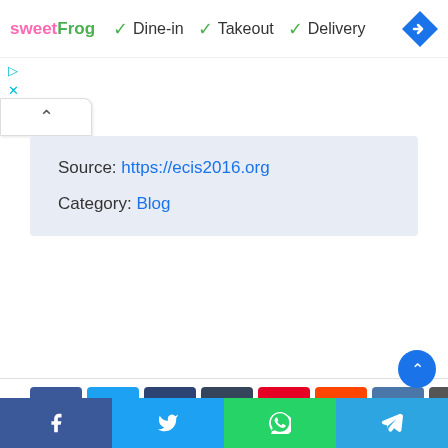sweetFrog ✓ Dine-in ✓ Takeout ✓ Delivery
Source: https://ecis2016.org
Category: Blog
[Figure (other): Social media share buttons: Facebook, Twitter, LinkedIn, Tumblr, Pinterest, Reddit, VK, Email, Print]
Facebook | Twitter | WhatsApp | Telegram share bar